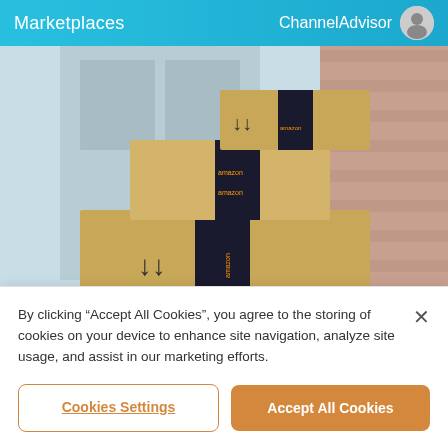Marketplaces   ChannelAdvisor
[Figure (photo): Stack of Amazon cardboard packages/boxes piled on a doorstep, with Amazon tape and arrows visible on the boxes, background shows a door and brick wall.]
How to Succeed on Amazon
READ TIME: 2 MINUTES
By clicking “Accept All Cookies”, you agree to the storing of cookies on your device to enhance site navigation, analyze site usage, and assist in our marketing efforts.
Cookies Settings
Accept All Cookies